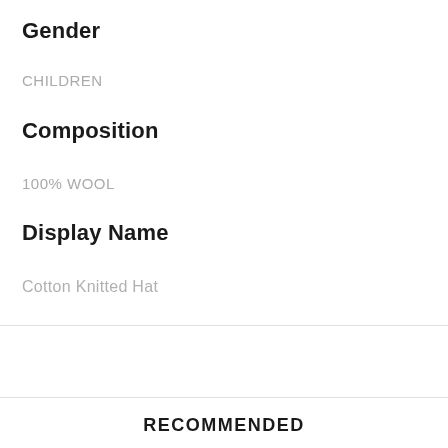Gender
CHILDREN
Composition
100% WOOL
Display Name
Cotton Knitted Hat
RECOMMENDED